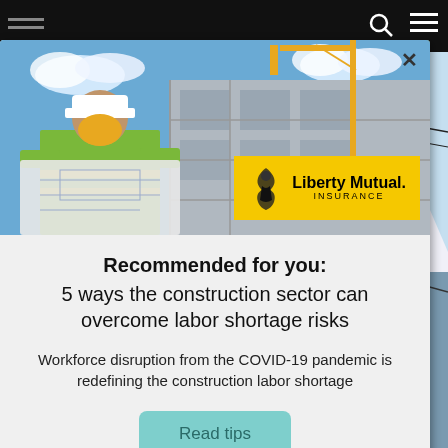Liberty Mutual Insurance - navigation bar
[Figure (photo): Construction worker in yellow hi-vis vest and hard hat reviewing plans at a construction site with crane in background; Liberty Mutual Insurance logo overlay on yellow background]
Recommended for you: 5 ways the construction sector can overcome labor shortage risks
Workforce disruption from the COVID-19 pandemic is redefining the construction labor shortage
Read tips